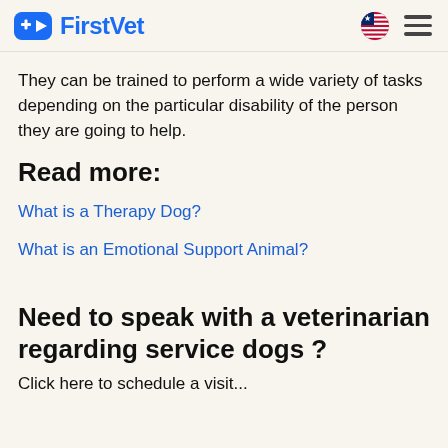FirstVet
They can be trained to perform a wide variety of tasks depending on the particular disability of the person they are going to help.
Read more:
What is a Therapy Dog?
What is an Emotional Support Animal?
Need to speak with a veterinarian regarding service dogs ?
Click here to schedule a visit...